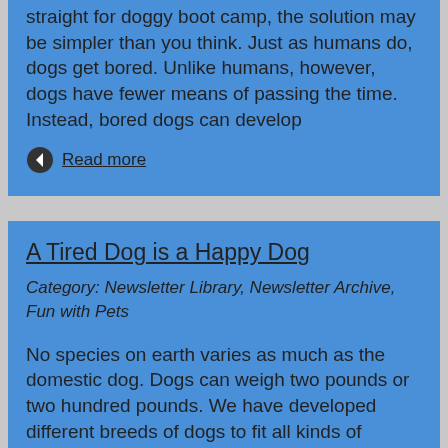straight for doggy boot camp, the solution may be simpler than you think. Just as humans do, dogs get bored. Unlike humans, however, dogs have fewer means of passing the time. Instead, bored dogs can develop
Read more
A Tired Dog is a Happy Dog
Category: Newsletter Library, Newsletter Archive, Fun with Pets
No species on earth varies as much as the domestic dog. Dogs can weigh two pounds or two hundred pounds. We have developed different breeds of dogs to fit all kinds of different occupations. Some dogs such as retrievers are bred to return things to us. Herding breeds such as border collies have been
Read more